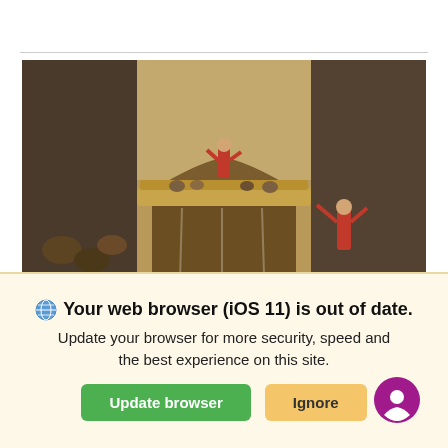[Figure (illustration): A religious painting showing Noah's Ark, a large wooden vessel on water, with a figure in red robes standing on top. The image is rendered in warm earth tones with dramatic composition. Left and right panels are darkened, showing additional figures.]
Your web browser (iOS 11) is out of date. Update your browser for more security, speed and the best experience on this site.
Update browser
Ignore